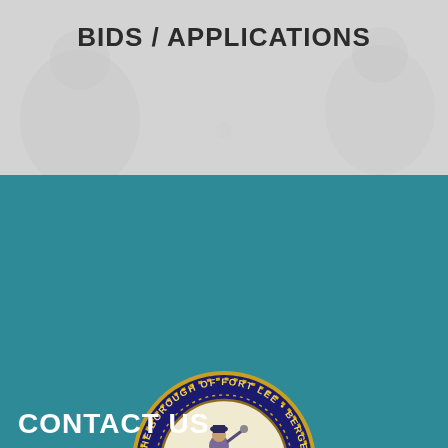BIDS / APPLICATIONS
[Figure (logo): Official seal of The Borough of Fort Lee, Bergen County, N.J., incorporated March 1904. Circular seal with blue border, gold lettering, and central emblem showing a Revolutionary War soldier on a cannon with green hills, red and white building, and decorative border.]
CONTACT US